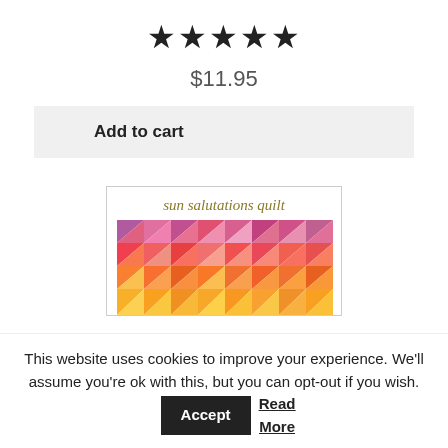★★★★★
$11.95
Add to cart
[Figure (illustration): Book cover for 'sun salutations quilt' showing a colorful geometric quilt pattern with triangles in pink, orange, yellow, and red tones.]
This website uses cookies to improve your experience. We'll assume you're ok with this, but you can opt-out if you wish. Accept Read More